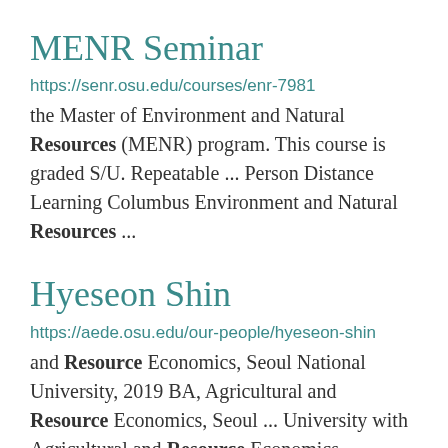MENR Seminar
https://senr.osu.edu/courses/enr-7981
the Master of Environment and Natural Resources (MENR) program. This course is graded S/U. Repeatable ... Person Distance Learning Columbus Environment and Natural Resources ...
Hyeseon Shin
https://aede.osu.edu/our-people/hyeseon-shin
and Resource Economics, Seoul National University, 2019 BA, Agricultural and Resource Economics, Seoul ... University with Agricultural and Resource Economics